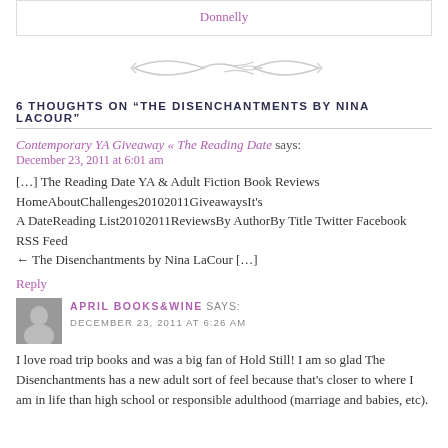Donnelly
[Figure (illustration): Decorative divider: two intertwined leaf/arrow shapes in light gray]
6 THOUGHTS ON “THE DISENCHANTMENTS BY NINA LACOUR”
Contemporary YA Giveaway « The Reading Date says:
December 23, 2011 at 6:01 am
[…] The Reading Date YA & Adult Fiction Book Reviews HomeAboutChallenges20102011GiveawaysIt’s A DateReading List20102011ReviewsBy AuthorBy Title Twitter Facebook RSS Feed ← The Disenchantments by Nina LaCour […]
Reply
APRIL BOOKS&WINE SAYS:
DECEMBER 23, 2011 AT 6:26 AM
I love road trip books and was a big fan of Hold Still! I am so glad The Disenchantments has a new adult sort of feel because that’s closer to where I am in life than high school or responsible adulthood (marriage and babies, etc).